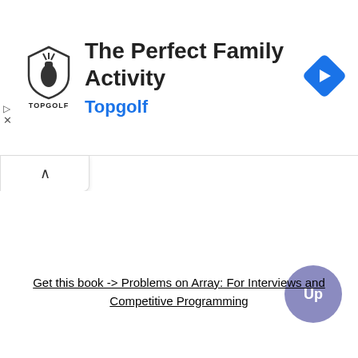[Figure (screenshot): Topgolf advertisement banner with shield logo, title 'The Perfect Family Activity', subtitle 'Topgolf', and a blue diamond navigation icon on the right.]
Get this book -> Problems on Array: For Interviews and Competitive Programming